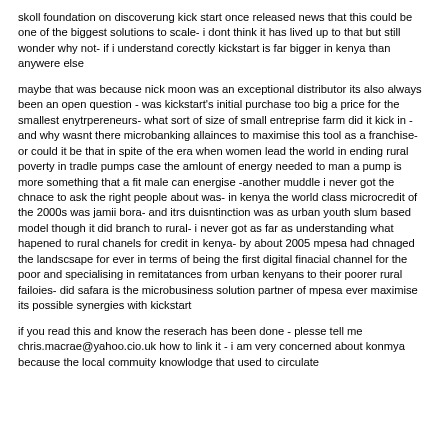skoll foundation on discoverung kick start once released news that this could be one of the biggest solutions to scale- i dont think it has lived up to that but still wonder why not- if i understand corectly kickstart is far bigger in kenya than anywere else
maybe that was because nick moon was an exceptional distributor its also always been an open question - was kickstart's initial purchase too big a price for the smallest enytrpereneurs- what sort of size of small entreprise farm did it kick in - and why wasnt there microbanking allainces to maximise this tool as a franchise- or could it be that in spite of the era when women lead the world in ending rural poverty in tradle pumps case the amlount of energy needed to man a pump is more something that a fit male can energise -another muddle i never got the chnace to ask the right people about was- in kenya the world class microcredit of the 2000s was jamii bora- and itrs duisntinction was as urban youth slum based model though it did branch to rural- i never got as far as understanding what hapened to rural chanels for credit in kenya- by about 2005 mpesa had chnaged the landscsape for ever in terms of being the first digital finacial channel for the poor and specialising in remitatances from urban kenyans to their poorer rural failoies- did safara is the microbusiness solution partner of mpesa ever maximise its possible synergies with kickstart
if you read this and know the reserach has been done - plesse tell me chris.macrae@yahoo.cio.uk how to link it - i am very concerned about konmya because the local commuity knowlodge that used to circulate